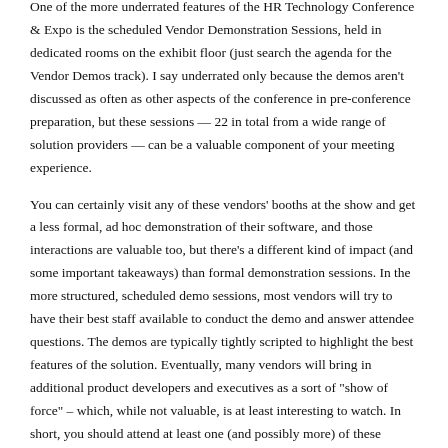One of the more underrated features of the HR Technology Conference & Expo is the scheduled Vendor Demonstration Sessions, held in dedicated rooms on the exhibit floor (just search the agenda for the Vendor Demos track). I say underrated only because the demos aren't discussed as often as other aspects of the conference in pre-conference preparation, but these sessions — 22 in total from a wide range of solution providers — can be a valuable component of your meeting experience.
You can certainly visit any of these vendors' booths at the show and get a less formal, ad hoc demonstration of their software, and those interactions are valuable too, but there's a different kind of impact (and some important takeaways) than formal demonstration sessions. In the more structured, scheduled demo sessions, most vendors will try to have their best staff available to conduct the demo and answer attendee questions. The demos are typically tightly scripted to highlight the best features of the solution. Eventually, many vendors will bring in additional product developers and executives as a sort of "show of force" – which, while not valuable, is at least interesting to watch. In short, you should attend at least one (and possibly more) of these sessions at HR Tech.